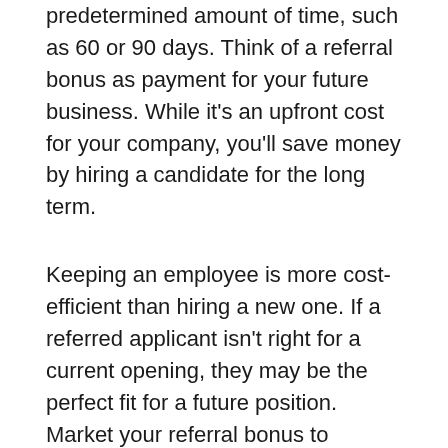predetermined amount of time, such as 60 or 90 days. Think of a referral bonus as payment for your future business. While it's an upfront cost for your company, you'll save money by hiring a candidate for the long term.
Keeping an employee is more cost-efficient than hiring a new one. If a referred applicant isn't right for a current opening, they may be the perfect fit for a future position. Market your referral bonus to current employees during company-wide meetings and via benefit sessions.
3. Streamline Your Application Process